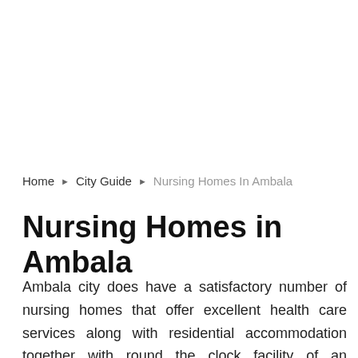Home ▶ City Guide ▶ Nursing Homes In Ambala
Nursing Homes in Ambala
Ambala city does have a satisfactory number of nursing homes that offer excellent health care services along with residential accommodation together with round the clock facility of an experienced nurse is also provided.